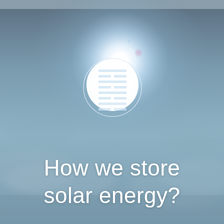[Figure (photo): A bright sun shining in a hazy blue-grey sky with clouds, seen from below. The sun creates a strong white glow/lens flare. Overlaid on the sun is a circular logo/icon containing an I Ching hexagram symbol (grid of horizontal bars arranged in trigram pattern) drawn in white outline on the luminous background.]
How we store solar energy?